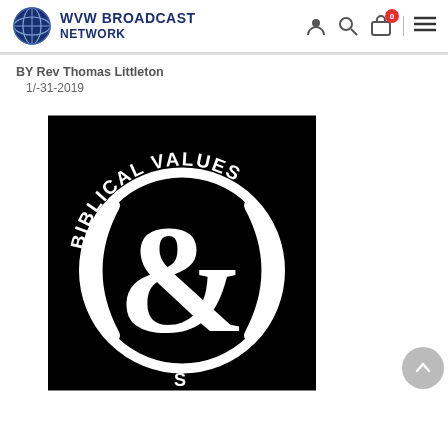WVW BROADCAST NETWORK
BY Rev Thomas Littleton
1/-31-2019
[Figure (illustration): Black background logo/graphic with text 'BIBLICAL VALUES' arched at the top, a large white ampersand (&) symbol in the center inside a circular design with parentheses shapes. Partial text visible at the bottom.]